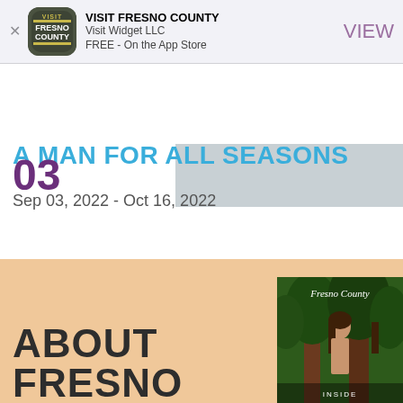[Figure (screenshot): App Store banner for VISIT FRESNO COUNTY app by Visit Widget LLC, FREE on the App Store, with VIEW button]
03
A MAN FOR ALL SEASONS
Sep 03, 2022 - Oct 16, 2022
[Figure (screenshot): Bottom section with peach/tan background showing 'ABOUT FRESNO' text in large bold dark letters and a Fresno County magazine cover thumbnail on the right]